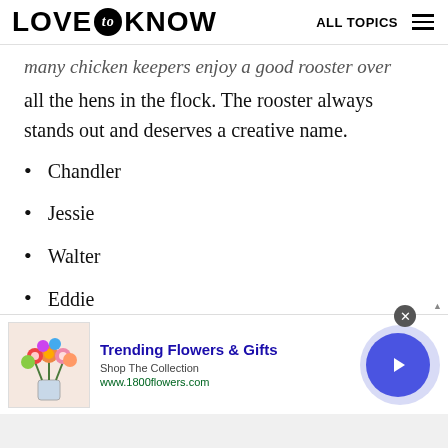LOVE to KNOW   ALL TOPICS
Many chicken keepers enjoy a good rooster over all the hens in the flock. The rooster always stands out and deserves a creative name.
Chandler
Jessie
Walter
Eddie
Paul
Brad
[Figure (infographic): Advertisement banner for 1800flowers.com showing a bouquet of colorful flowers, with title 'Trending Flowers & Gifts', subtitle 'Shop The Collection', URL 'www.1800flowers.com', and a navigation arrow button.]